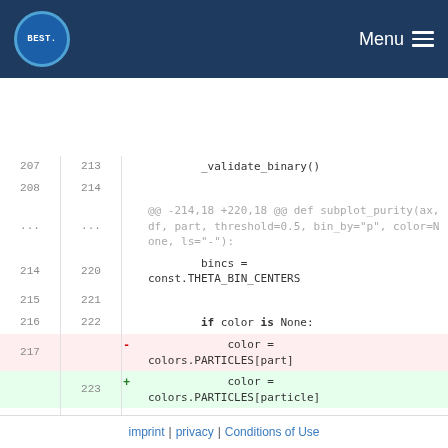BEST. Menu
Code diff showing changes to subplot_purity function: replacing 'part' parameter with 'particle' parameter. Lines 207-226 shown with deletions (red) and additions (green).
imprint | privacy | Conditions of Use